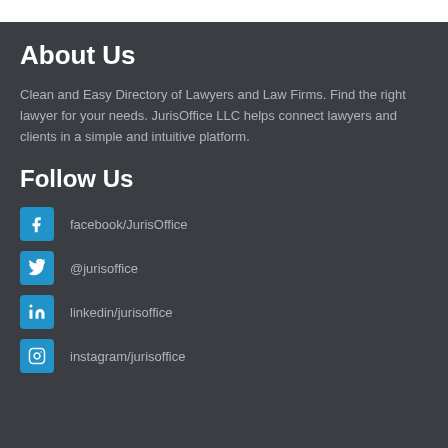About Us
Clean and Easy Directory of Lawyers and Law Firms. Find the right lawyer for your needs. JurisOffice LLC helps connect lawyers and clients in a simple and intuitive platform.
Follow Us
facebook/JurisOffice
@jurisoffice
linkedin/jurisoffice
instagram/jurisoffice